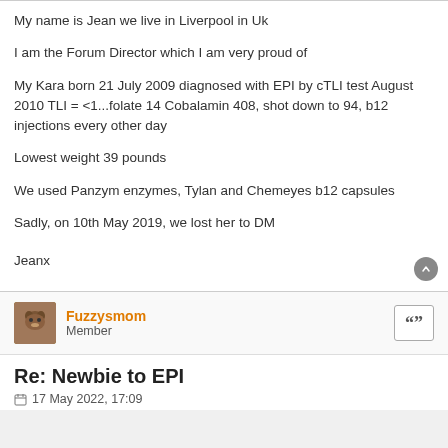My name is Jean we live in Liverpool in Uk
I am the Forum Director which I am very proud of
My Kara born 21 July 2009 diagnosed with EPI by cTLI test August 2010 TLI = <1...folate 14 Cobalamin 408, shot down to 94, b12 injections every other day
Lowest weight 39 pounds
We used Panzym enzymes, Tylan and Chemeyes b12 capsules
Sadly, on 10th May 2019, we lost her to DM
Jeanx
Fuzzysmom
Member
Re: Newbie to EPI
17 May 2022, 17:09